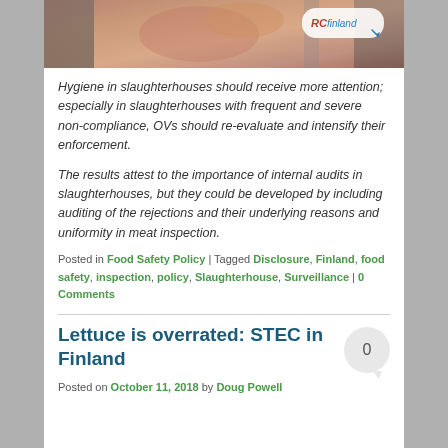[Figure (photo): Image of meat/slaughterhouse with RC Finland logo overlay]
Hygiene in slaughterhouses should receive more attention; especially in slaughterhouses with frequent and severe non-compliance, OVs should re-evaluate and intensify their enforcement.
The results attest to the importance of internal audits in slaughterhouses, but they could be developed by including auditing of the rejections and their underlying reasons and uniformity in meat inspection.
Posted in Food Safety Policy | Tagged Disclosure, Finland, food safety, inspection, policy, Slaughterhouse, Surveillance | 0 Comments
Lettuce is overrated: STEC in Finland
Posted on October 11, 2018 by Doug Powell